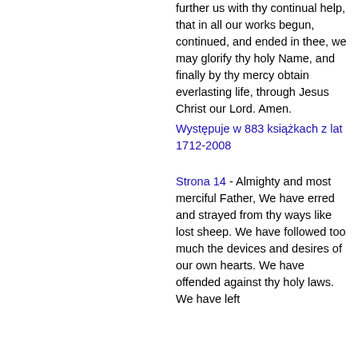further us with thy continual help, that in all our works begun, continued, and ended in thee, we may glorify thy holy Name, and finally by thy mercy obtain everlasting life, through Jesus Christ our Lord. Amen.
Występuje w 883 książkach z lat 1712-2008
Strona 14 - Almighty and most merciful Father, We have erred and strayed from thy ways like lost sheep. We have followed too much the devices and desires of our own hearts. We have offended against thy holy laws. We have left